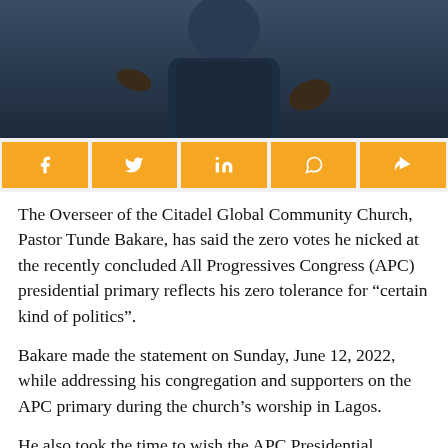[Figure (photo): Photo of Pastor Tunde Bakare in dark jacket, partially visible upper body, raising hand]
[Figure (infographic): Social media share buttons bar: Facebook, Twitter, LinkedIn, WhatsApp, Share icons on orange background]
The Overseer of the Citadel Global Community Church, Pastor Tunde Bakare, has said the zero votes he nicked at the recently concluded All Progressives Congress (APC) presidential primary reflects his zero tolerance for “certain kind of politics”.
Bakare made the statement on Sunday, June 12, 2022, while addressing his congregation and supporters on the APC primary during the church’s worship in Lagos.
He also took the time to wish the APC Presidential